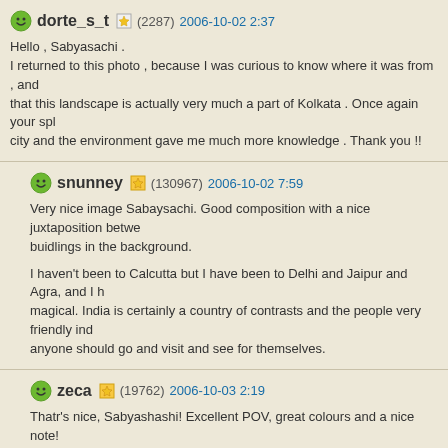dorte_s_t (2287) 2006-10-02 2:37
Hello , Sabyasachi .
I returned to this photo , because I was curious to know where it was from , and that this landscape is actually very much a part of Kolkata . Once again your spl city and the environment gave me much more knowledge . Thank you !!
snunney (130967) 2006-10-02 7:59
Very nice image Sabaysachi. Good composition with a nice juxtaposition betwe buidlings in the background.

I haven't been to Calcutta but I have been to Delhi and Jaipur and Agra, and I h magical. India is certainly a country of contrasts and the people very friendly ind anyone should go and visit and see for themselves.
zeca (19762) 2006-10-03 2:19
Thatr's nice, Sabyashashi! Excellent POV, great colours and a nice note!
Regards from Brazil!
Zeca
anjan (1086) 2006-10-07 16:25